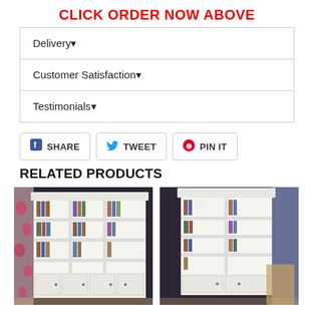CLICK ORDER NOW ABOVE
Delivery▼
Customer Satisfaction▼
Testimonials▼
f SHARE   TWEET   PIN IT
RELATED PRODUCTS
[Figure (photo): White large bookcase/library unit with multiple shelves filled with books and decorative items, with cabinet doors at the bottom, against a dark wall with floral curtains]
[Figure (photo): White tall bookcase unit with shelves containing books and decorative items, cabinet doors at the bottom, against a dark wall with blue curtains and a wicker chair]